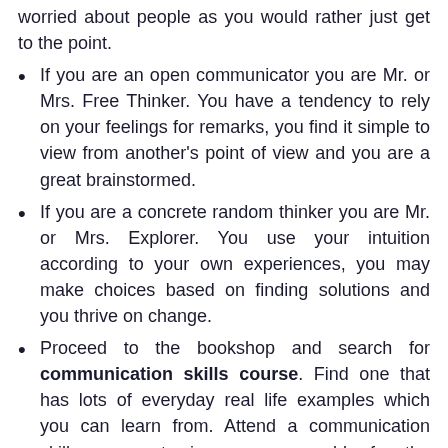worried about people as you would rather just get to the point.
If you are an open communicator you are Mr. or Mrs. Free Thinker. You have a tendency to rely on your feelings for remarks, you find it simple to view from another's point of view and you are a great brainstormed.
If you are a concrete random thinker you are Mr. or Mrs. Explorer. You use your intuition according to your own experiences, you may make choices based on finding solutions and you thrive on change.
Proceed to the bookshop and search for communication skills course. Find one that has lots of everyday real life examples which you can learn from. Attend a communication skills course to improve your odds for the following job promotion.
Communication skills coaches point out that it is